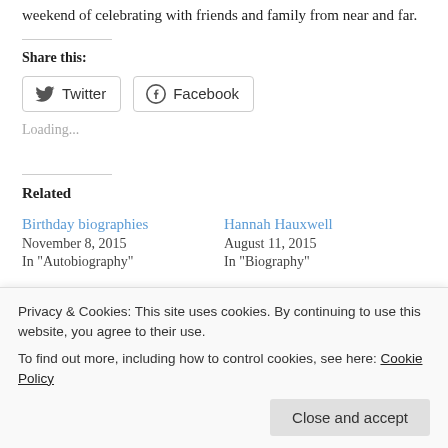weekend of celebrating with friends and family from near and far.
Share this:
[Figure (other): Social share buttons: Twitter and Facebook]
Loading...
Related
Birthday biographies
November 8, 2015
In "Autobiography"
Hannah Hauxwell
August 11, 2015
In "Biography"
Privacy & Cookies: This site uses cookies. By continuing to use this website, you agree to their use.
To find out more, including how to control cookies, see here: Cookie Policy